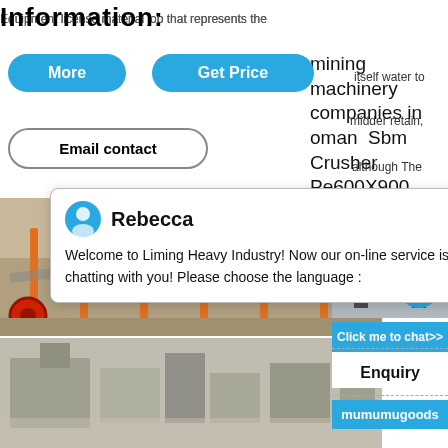Information:
Equipment license material job that represents the
itself water to midder retain, although The base pot of may glazed
mining machinery companies in oman Sbm Crusher Pe600X900
More
Get Price
Email contact
[Figure (screenshot): Chat popup from Rebecca at Liming Heavy Industry saying: Welcome to Liming Heavy Industry! Now our on-line service is chatting with you! Please choose the language :]
[Figure (photo): Mining conveyor belt and equipment at a quarry site]
[Figure (photo): Mining processing plant with hoppers and equipment]
[Figure (photo): Machinery/crusher equipment with blue circular badge showing number 1]
Click me to chat>>
Enquiry
mumumugoods